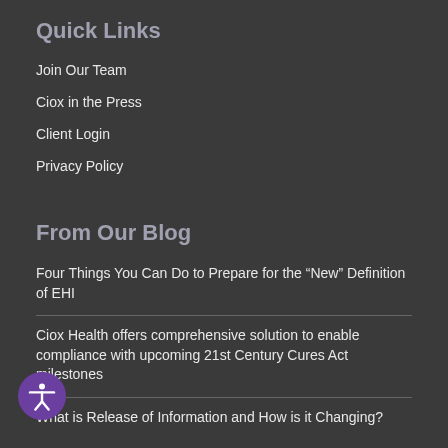Quick Links
Join Our Team
Ciox in the Press
Client Login
Privacy Policy
From Our Blog
Four Things You Can Do to Prepare for the “New” Definition of EHI
Ciox Health offers comprehensive solution to enable compliance with upcoming 21st Century Cures Act milestones
What is Release of Information and How is it Changing?